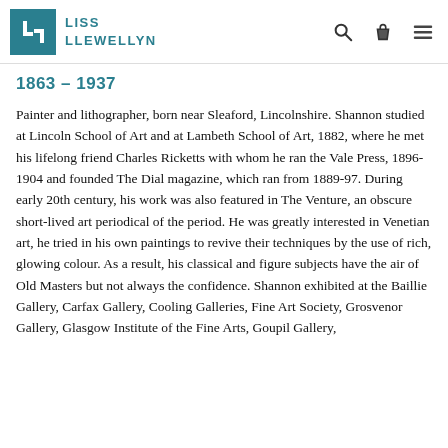LISS LLEWELLYN
1863 – 1937
Painter and lithographer, born near Sleaford, Lincolnshire. Shannon studied at Lincoln School of Art and at Lambeth School of Art, 1882, where he met his lifelong friend Charles Ricketts with whom he ran the Vale Press, 1896-1904 and founded The Dial magazine, which ran from 1889-97. During early 20th century, his work was also featured in The Venture, an obscure short-lived art periodical of the period. He was greatly interested in Venetian art, he tried in his own paintings to revive their techniques by the use of rich, glowing colour. As a result, his classical and figure subjects have the air of Old Masters but not always the confidence. Shannon exhibited at the Baillie Gallery, Carfax Gallery, Cooling Galleries, Fine Art Society, Grosvenor Gallery, Glasgow Institute of the Fine Arts, Goupil Gallery,